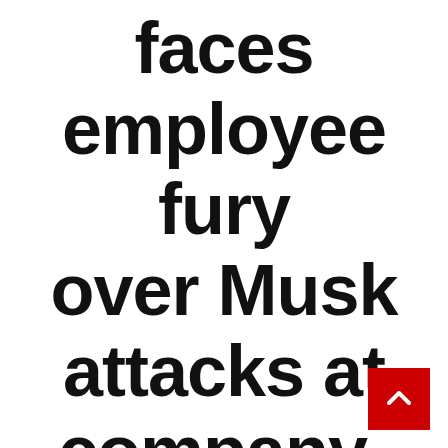faces employee fury over Musk attacks at company-wide